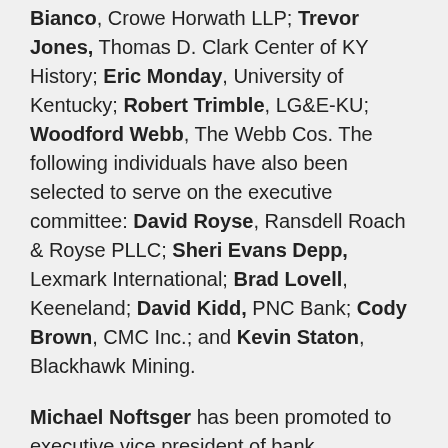Bianco, Crowe Horwath LLP; Trevor Jones, Thomas D. Clark Center of KY History; Eric Monday, University of Kentucky; Robert Trimble, LG&E-KU; Woodford Webb, The Webb Cos. The following individuals have also been selected to serve on the executive committee: David Royse, Ransdell Roach & Royse PLLC; Sheri Evans Depp, Lexmark International; Brad Lovell, Keeneland; David Kidd, PNC Bank; Cody Brown, CMC Inc.; and Kevin Staton, Blackhawk Mining.
Michael Noftsger has been promoted to executive vice president of bank administration at Forcht Bank.
Kentucky Board of Emergency Medical Services